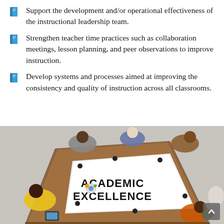Support the development and/or operational effectiveness of the instructional leadership team.
Strengthen teacher time practices such as collaboration meetings, lesson planning, and peer observations to improve instruction.
Develop systems and processes aimed at improving the consistency and quality of instruction across all classrooms.
[Figure (photo): Overhead view of people sitting around a wooden table with a large white sheet that reads 'Academic Excellence' in bold text. People are collaborating and writing. One person in yellow jacket visible on the left. A small plant and tablet visible.]